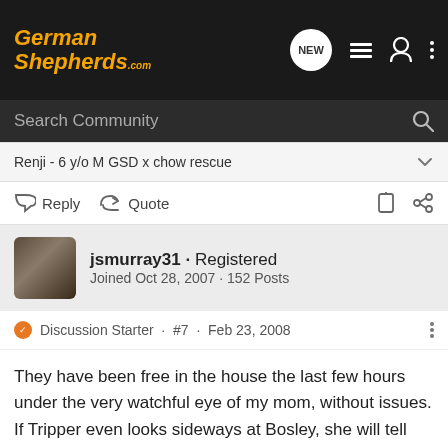GermanShepherds.com
Search Community
Renji - 6 y/o M GSD x chow rescue
Reply  Quote
jsmurray31 · Registered
Joined Oct 28, 2007 · 152 Posts
Discussion Starter · #7 · Feb 23, 2008
They have been free in the house the last few hours under the very watchful eye of my mom, without issues. If Tripper even looks sideways at Bosley, she will tell him "no". When I head home I will call and let her know I am close so she can crate Tripper.